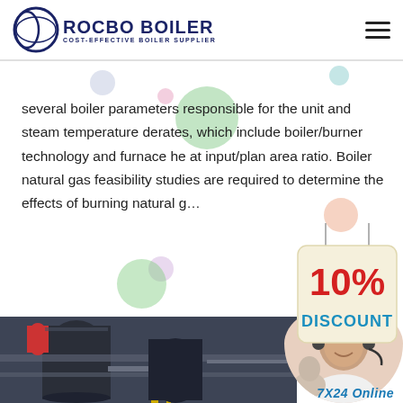ROCBO BOILER - COST-EFFECTIVE BOILER SUPPLIER
several boiler parameters responsible for the unit and steam temperature derates, which include boiler/burner technology and furnace he at input/plan area ratio. Boiler natural gas feasibility studies are required to determine the effects of burning natural g...
[Figure (other): Green 'Get Price' button]
[Figure (other): 10% DISCOUNT badge - hanging sign with red and teal text on cream background]
[Figure (photo): Industrial boiler room with large cylindrical equipment, pipes, and machinery]
[Figure (photo): Customer service representative wearing headset smiling, with '7X24 Online' text overlay]